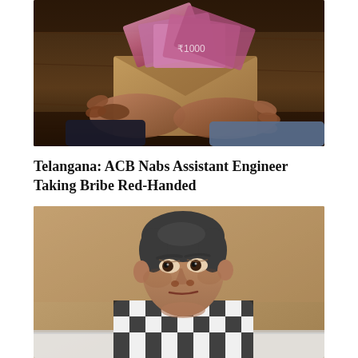[Figure (photo): Two hands exchanging Indian rupee notes from an envelope over a dark wooden surface — a bribery scene]
Telangana: ACB Nabs Assistant Engineer Taking Bribe Red-Handed
[Figure (photo): Middle-aged man in a black and white checkered shirt seated in a chair, appearing serious, against a beige/brown background — likely the arrested engineer]